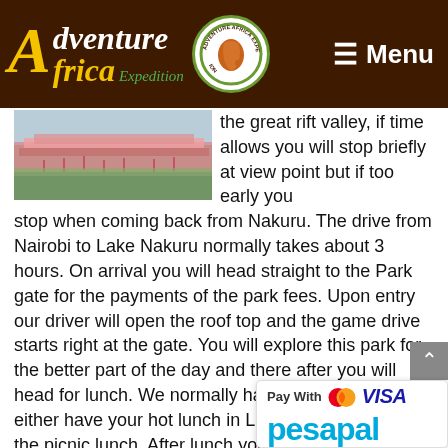Adventure Africa Expedition — Menu
[Figure (photo): Flamingos at a lake, likely Lake Nakuru, with dense flock of pink birds near water]
the great rift valley, if time allows you will stop briefly at view point but if too early you stop when coming back from Nakuru. The drive from Nairobi to Lake Nakuru normally takes about 3 hours. On arrival you will head straight to the Park gate for the payments of the park fees. Upon entry our driver will open the roof top and the game drive starts right at the gate. You will explore this park for the better part of the day and there after you will head for lunch. We normally have option for lunch, either have your hot lunch in Lake Nakuru Lodge or the picnic lunch. After lunch you will proceed for another extensive game drive until 1330hrs. In lake Nakuru we have plenty of Birds for the bird watchers as well as its the only park where we have concentration of White Rhinos, Flamingos and Rothschild Giraffes. Its also in this park wh
[Figure (logo): Pay With Mastercard VISA pesapal payment widget]